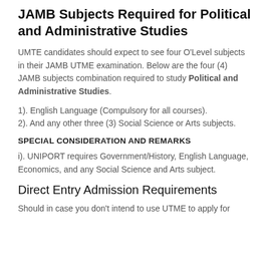JAMB Subjects Required for Political and Administrative Studies
UMTE candidates should expect to see four O'Level subjects in their JAMB UTME examination. Below are the four (4) JAMB subjects combination required to study Political and Administrative Studies.
1). English Language (Compulsory for all courses).
2). And any other three (3) Social Science or Arts subjects.
SPECIAL CONSIDERATION AND REMARKS
i). UNIPORT requires Government/History, English Language, Economics, and any Social Science and Arts subject.
Direct Entry Admission Requirements
Should in case you don't intend to use UTME to apply for